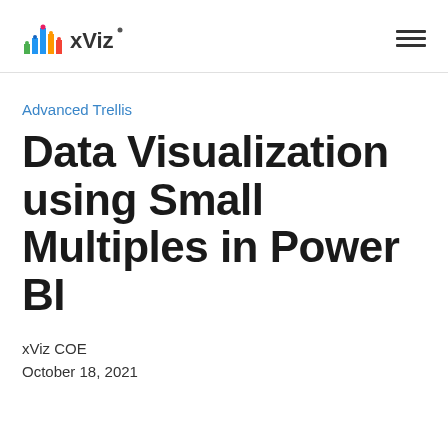xViz
Advanced Trellis
Data Visualization using Small Multiples in Power BI
xViz COE
October 18, 2021